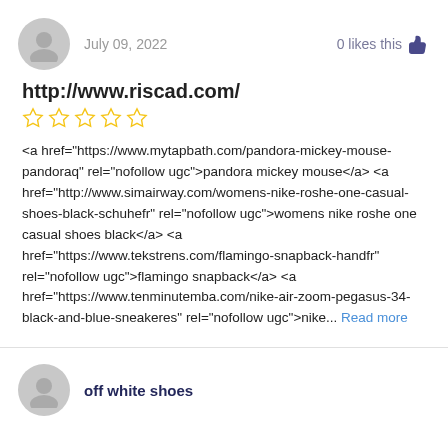July 09, 2022   0 likes this
http://www.riscad.com/
<a href="https://www.mytapbath.com/pandora-mickey-mouse-pandoraq" rel="nofollow ugc">pandora mickey mouse</a> <a href="http://www.simairway.com/womens-nike-roshe-one-casual-shoes-black-schuhefr" rel="nofollow ugc">womens nike roshe one casual shoes black</a> <a href="https://www.tekstrens.com/flamingo-snapback-handfr" rel="nofollow ugc">flamingo snapback</a> <a href="https://www.tenminutemba.com/nike-air-zoom-pegasus-34-black-and-blue-sneakeres" rel="nofollow ugc">nike... Read more
off white shoes